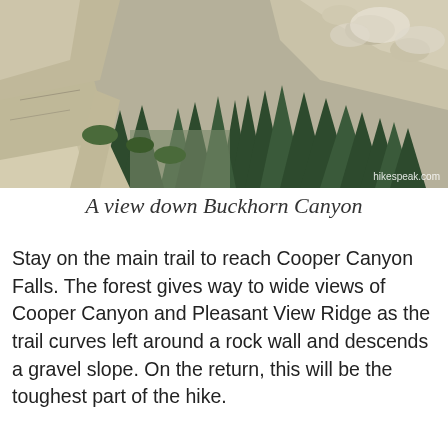[Figure (photo): A photograph showing a rocky trail overlooking Buckhorn Canyon with evergreen trees and rocky mountainside. Watermark reads hikespeak.com.]
A view down Buckhorn Canyon
Stay on the main trail to reach Cooper Canyon Falls. The forest gives way to wide views of Cooper Canyon and Pleasant View Ridge as the trail curves left around a rock wall and descends a gravel slope. On the return, this will be the toughest part of the hike.